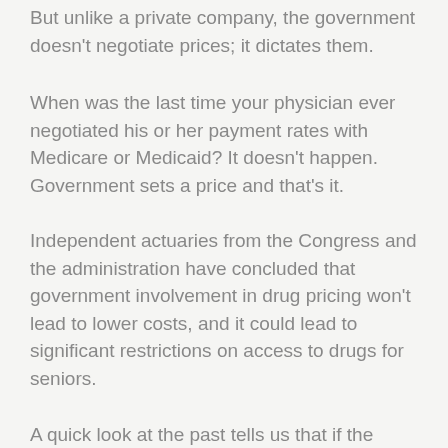But unlike a private company, the government doesn't negotiate prices; it dictates them.
When was the last time your physician ever negotiated his or her payment rates with Medicare or Medicaid? It doesn't happen. Government sets a price and that's it.
Independent actuaries from the Congress and the administration have concluded that government involvement in drug pricing won't lead to lower costs, and it could lead to significant restrictions on access to drugs for seniors.
A quick look at the past tells us that if the government meddles in the pharmaceutical marketplace, the fallout will be immediate and